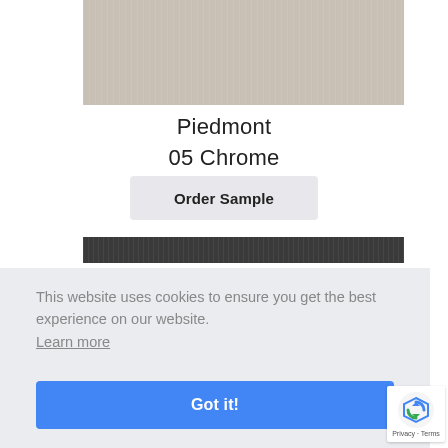[Figure (photo): Beige/taupe fabric or material swatch showing the Piedmont 05 Chrome color sample with subtle vertical texture]
Piedmont
05 Chrome
Order Sample
[Figure (photo): Dark charcoal/dark grey fabric or material swatch with subtle horizontal texture pattern]
This website uses cookies to ensure you get the best experience on our website. Learn more
Got it!